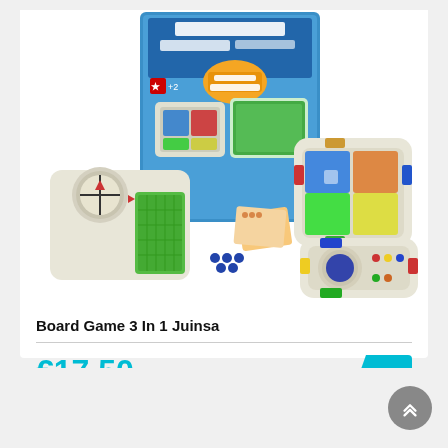[Figure (photo): Product photo of Board Game 3 In 1 Juinsa showing the box and three game boards: Parchis, Bingo Electrico, and Oca Automatico, with colorful game pieces]
Board Game 3 In 1 Juinsa
€17.50
€19.00
-8% OFF